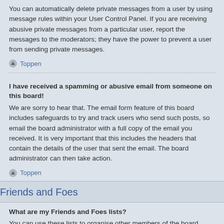You can automatically delete private messages from a user by using message rules within your User Control Panel. If you are receiving abusive private messages from a particular user, report the messages to the moderators; they have the power to prevent a user from sending private messages.
Toppen
I have received a spamming or abusive email from someone on this board!
We are sorry to hear that. The email form feature of this board includes safeguards to try and track users who send such posts, so email the board administrator with a full copy of the email you received. It is very important that this includes the headers that contain the details of the user that sent the email. The board administrator can then take action.
Toppen
Friends and Foes
What are my Friends and Foes lists?
You can use these lists to organise other members of the board. Members added to your friends list will be listed within your User Control Panel for quick access to see their online status and to send them private messages. Subject to template support, posts from these users may also be highlighted. If you add a user to your foes list, any posts they make will be hidden by default.
Toppen